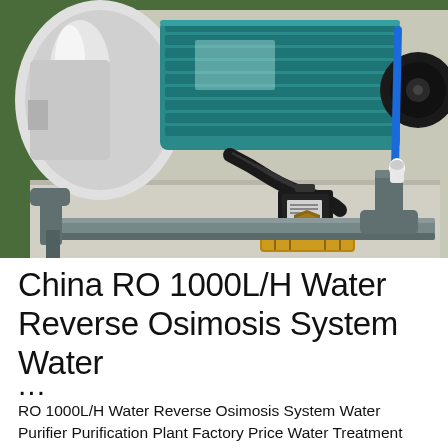[Figure (photo): Close-up photograph of a water pump and piping assembly. Shows a teal/green electric motor, stainless steel pump housing on the left, black corrugated hose, a brass solenoid valve in the center bottom, grey PVC pipes, and a blue tube with white connector on the right.]
China RO 1000L/H Water Reverse Osimosis System Water ...
RO 1000L/H Water Reverse Osimosis System Water Purifier Purification Plant Factory Price Water Treatment Equipment Desalination Filter with Softener Filtration Product Description Reverse Osmosis System is an